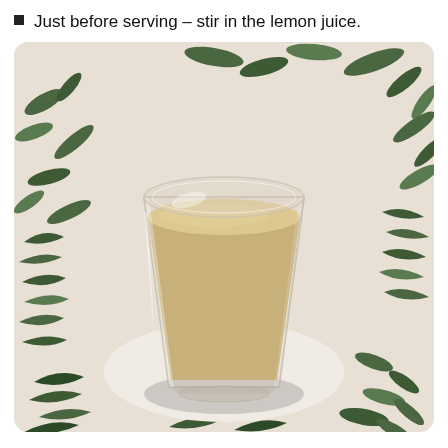Just before serving – stir in the lemon juice.
[Figure (photo): A glass tumbler filled with a creamy pale yellow/beige smoothie or juice drink, sitting on a white fabric with a botanical green fern and leaf print pattern.]